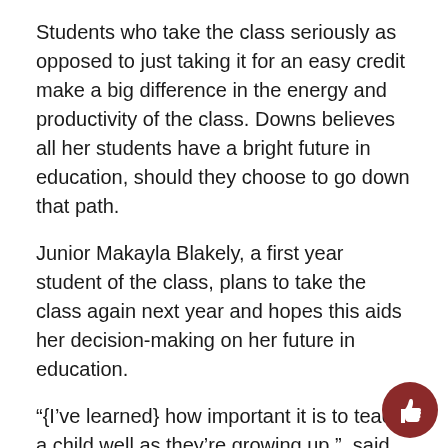Students who take the class seriously as opposed to just taking it for an easy credit make a big difference in the energy and productivity of the class. Downs believes all her students have a bright future in education, should they choose to go down that path.
Junior Makayla Blakely, a first year student of the class, plans to take the class again next year and hopes this aids her decision-making on her future in education.
“{I’ve learned} how important it is to teach a child well as they’re growing up,”  said Blakely.  “Every action has an impact on their future.”
Students most likely know about competitions in classes such as culinary or photography, but many people don’t not know that the Teacher Academy competes as well
“It’s called State Conference,” said Downs. “We compete